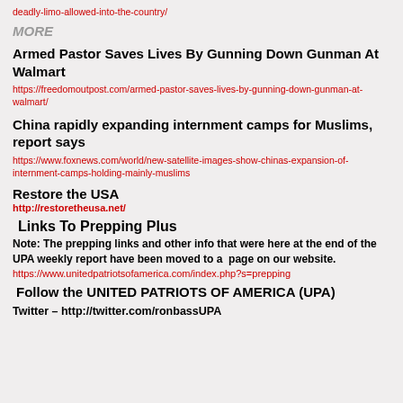deadly-limo-allowed-into-the-country/
MORE
Armed Pastor Saves Lives By Gunning Down Gunman At Walmart
https://freedomoutpost.com/armed-pastor-saves-lives-by-gunning-down-gunman-at-walmart/
China rapidly expanding internment camps for Muslims, report says
https://www.foxnews.com/world/new-satellite-images-show-chinas-expansion-of-internment-camps-holding-mainly-muslims
Restore the USA
http://restoretheusa.net/
Links To Prepping Plus
Note: The prepping links and other info that were here at the end of the UPA weekly report have been moved to a  page on our website.
https://www.unitedpatriotsofamerica.com/index.php?s=prepping
Follow the UNITED PATRIOTS OF AMERICA (UPA)
Twitter – http://twitter.com/ronbassUPA